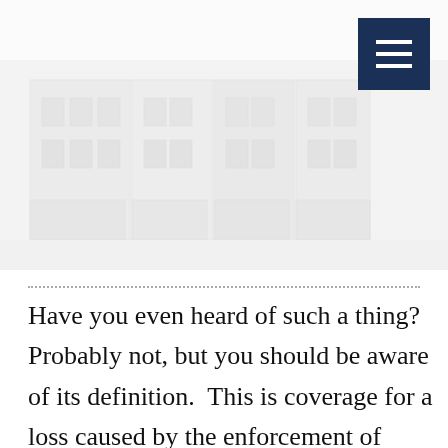[Figure (photo): Faded black and white photograph of a row of commercial/retail buildings along a street, very light/washed out appearance.]
Have you even heard of such a thing? Probably not, but you should be aware of its definition.  This is coverage for a loss caused by the enforcement of ordinances or laws which regulate construction and repair of damaged buildings.